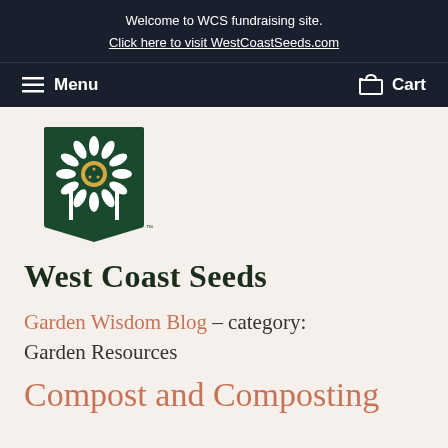Welcome to WCS fundraising site.
Click here to visit WestCoastSeeds.com
Menu  Cart
[Figure (logo): West Coast Seeds logo: dark green banner with white sunflower illustration above text 'West Coast Seeds']
Garden Wisdom Blog – category: Garden Resources
Compost and Composting